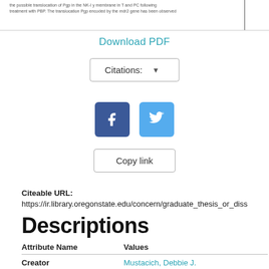[Figure (screenshot): Top portion of a document page with small text and a vertical line on the right side]
Download PDF
Citations: ▼
[Figure (other): Facebook and Twitter social sharing icons (blue square buttons)]
Copy link
Citeable URL:
https://ir.library.oregonstate.edu/concern/graduate_thesis_or_diss
Descriptions
| Attribute Name | Values |
| --- | --- |
| Creator | Mustacich, Debbie J. |